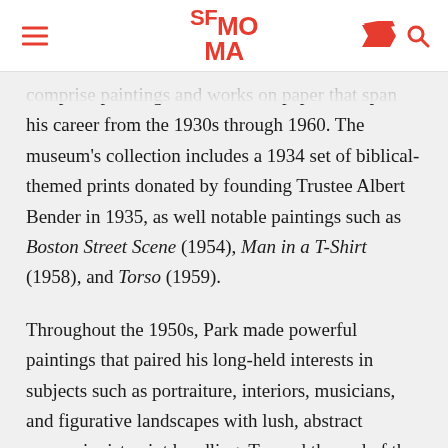SFMOMA
comprise paintings and works on paper that span his career from the 1930s through 1960. The museum's collection includes a 1934 set of biblical-themed prints donated by founding Trustee Albert Bender in 1935, as well notable paintings such as Boston Street Scene (1954), Man in a T-Shirt (1958), and Torso (1959).
Throughout the 1950s, Park made powerful paintings that paired his long-held interests in subjects such as portraiture, interiors, musicians, and figurative landscapes with lush, abstract expressionist paint handling. Toward the end of the decade, in 1958 and 1959, he reached the expressive peak of his powers, reveling in the sensuous qualities of paint to create